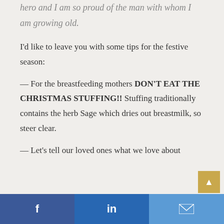hero and I am so proud of the man with whom I am growing old.
I'd like to leave you with some tips for the festive season:
— For the breastfeeding mothers DON'T EAT THE CHRISTMAS STUFFING!! Stuffing traditionally contains the herb Sage which dries out breastmilk, so steer clear.
— Let's tell our loved ones what we love about
Facebook | LinkedIn | Email